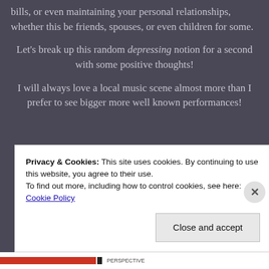bills, or even maintaining your personal relationships, whether this be friends, spouses, or even children for some.
Let's break up this random depressing notion for a second with some positive thoughts!
I will always love a local music scene almost more than I prefer to see bigger more well known performances!
Privacy & Cookies: This site uses cookies. By continuing to use this website, you agree to their use.
To find out more, including how to control cookies, see here: Cookie Policy